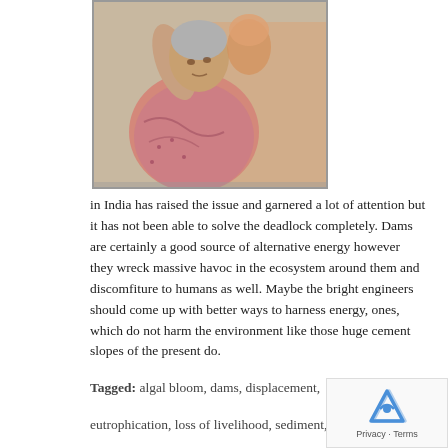[Figure (photo): An elderly woman in a patterned saree raising her hand, with another person partially visible behind her.]
in India has raised the issue and garnered a lot of attention but it has not been able to solve the deadlock completely. Dams are certainly a good source of alternative energy however they wreck massive havoc in the ecosystem around them and discomfiture to humans as well. Maybe the bright engineers should come up with better ways to harness energy, ones, which do not harm the environment like those huge cement slopes of the present do.
Tagged: algal bloom, dams, displacement, eutrophication, loss of livelihood, sediment, stagnation